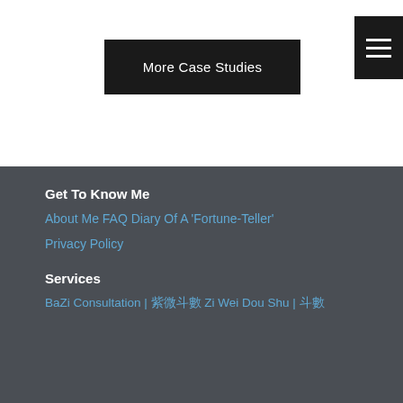More Case Studies
[Figure (other): Hamburger menu icon (three horizontal lines) on black background]
Get To Know Me
About Me FAQ Diary Of A ‘Fortune-Teller’
Privacy Policy
Services
BaZi Consultation | 紫微斗數 Zi Wei Dou Shu | 斗數